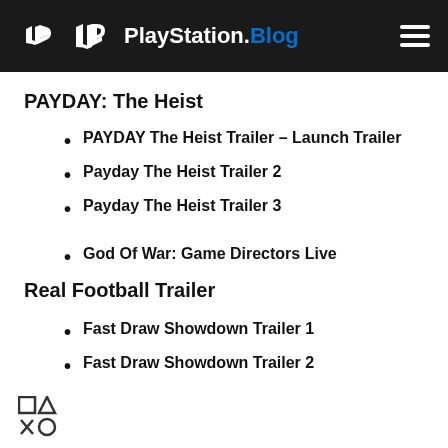PlayStation.Blog
PAYDAY: The Heist
PAYDAY The Heist Trailer – Launch Trailer
Payday The Heist Trailer 2
Payday The Heist Trailer 3
God Of War: Game Directors Live
Real Football Trailer
Fast Draw Showdown Trailer 1
Fast Draw Showdown Trailer 2
[Figure (logo): PlayStation controller button symbols (square, triangle, X, circle) at bottom left]